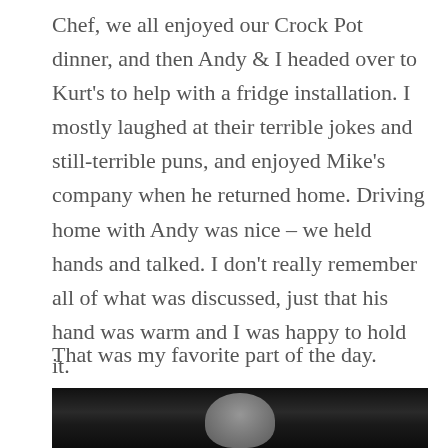Chef, we all enjoyed our Crock Pot dinner, and then Andy & I headed over to Kurt's to help with a fridge installation. I mostly laughed at their terrible jokes and still-terrible puns, and enjoyed Mike's company when he returned home. Driving home with Andy was nice – we held hands and talked. I don't really remember all of what was discussed, just that his hand was warm and I was happy to hold it.
That was my favorite part of the day.
[Figure (photo): A dark, mostly black-and-white photo, partially visible at the bottom of the page. The image shows what appears to be a low-light scene with a face or figure barely visible at the bottom.]